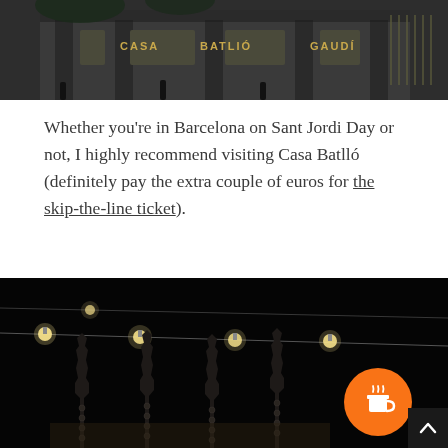[Figure (photo): Exterior facade of Casa Batlló with signs reading CASA, BATLlÓ, GAUDÍ against ornate architecture and trees]
Whether you're in Barcelona on Sant Jordi Day or not, I highly recommend visiting Casa Batlló (definitely pay the extra couple of euros for the skip-the-line ticket).
[Figure (photo): Night photo of Casa Sagrada Família towers illuminated against dark sky with string lights hanging in the foreground]